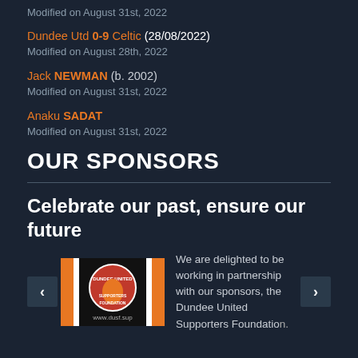Modified on August 31st, 2022
Dundee Utd 0-9 Celtic (28/08/2022)
Modified on August 28th, 2022
Jack NEWMAN (b. 2002)
Modified on August 31st, 2022
Anaku SADAT
Modified on August 31st, 2022
OUR SPONSORS
Celebrate our past, ensure our future
[Figure (logo): Dundee United Supporters Foundation logo with orange and white stripes and circular badge]
We are delighted to be working in partnership with our sponsors, the Dundee United Supporters Foundation.